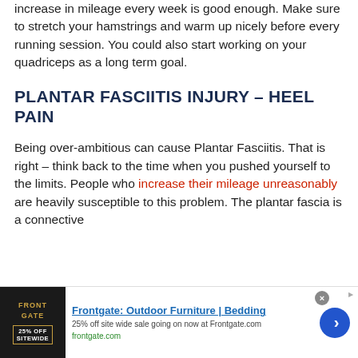increase in mileage every week is good enough. Make sure to stretch your hamstrings and warm up nicely before every running session. You could also start working on your quadriceps as a long term goal.
PLANTAR FASCIITIS INJURY – HEEL PAIN
Being over-ambitious can cause Plantar Fasciitis. That is right – think back to the time when you pushed yourself to the limits. People who increase their mileage unreasonably are heavily susceptible to this problem. The plantar fascia is a connective
[Figure (screenshot): Advertisement banner for Frontgate: Outdoor Furniture and Bedding. Shows 25% off site wide sale. Contains a product image thumbnail, ad title in blue, description text, frontgate.com URL in green, a close button, and a blue arrow navigation button.]